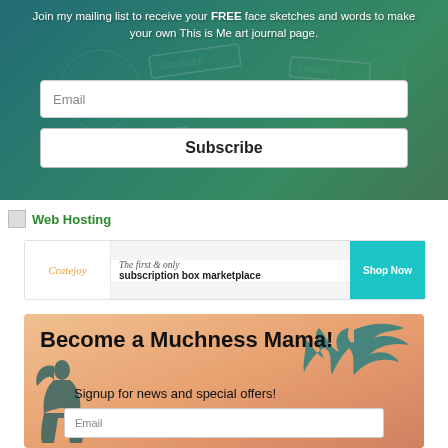[Figure (infographic): Art journal mailing list signup banner with teal/green mixed-media background showing face sketches and word stamps like GROUNDED, DYNAMIC, INTELLIGENT. Contains email input field and Subscribe button.]
Join my mailing list to receive your FREE face sketches and words to make your own This is Me art journal page.
[Figure (infographic): Web Hosting broken image link with green text label 'Web Hosting']
[Figure (infographic): Cratejoy advertisement banner: logo on left, 'The first & only subscription box marketplace' in center, 'Shop Now' teal button on right.]
[Figure (infographic): Become a Muchness Mama signup banner with peach/orange gradient background, dragon silhouette top right, woman silhouette bottom left, title text and email signup field.]
Become a Muchness Mama! Signup for news and special offers!